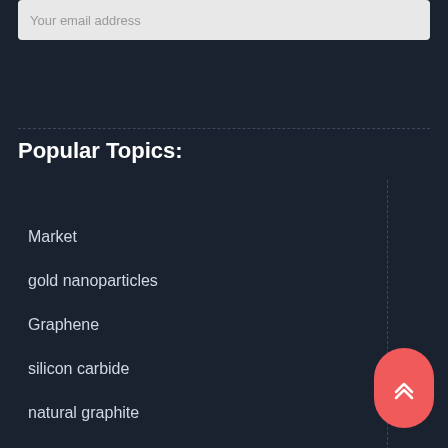Your email address
Popular Topics:
Market
gold nanoparticles
Graphene
silicon carbide
natural graphite
vanadium nitride powder